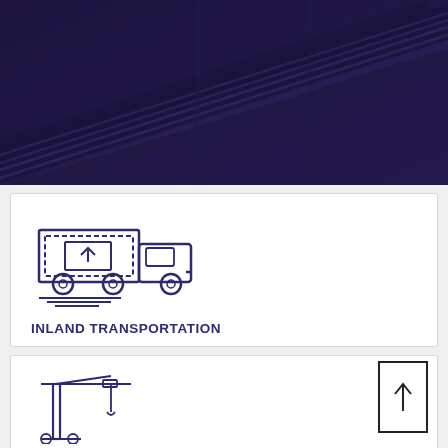[Figure (photo): Aerial or angled dark night photo of railway tracks or industrial conveyor rails with deep purple/dark navy blue tint overlay]
[Figure (illustration): Line icon of a delivery truck with a box/package on it, drawn in dark purple/navy outline style, with motion lines underneath]
INLAND TRANSPORTATION
[Figure (illustration): Line icon of a crane/port equipment, drawn in dark purple/navy outline style, partially visible at bottom of page]
[Figure (other): Scroll-to-top button with upward arrow, black border box on white background, positioned at lower right]